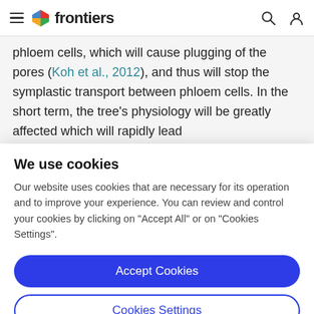frontiers
phloem cells, which will cause plugging of the pores (Koh et al., 2012), and thus will stop the symplastic transport between phloem cells. In the short term, the tree's physiology will be greatly affected which will rapidly lead to the tree's death. "Persian" lime (Citrus × latifolia Tan. ex...
We use cookies
Our website uses cookies that are necessary for its operation and to improve your experience. You can review and control your cookies by clicking on "Accept All" or on "Cookies Settings".
Accept Cookies
Cookies Settings